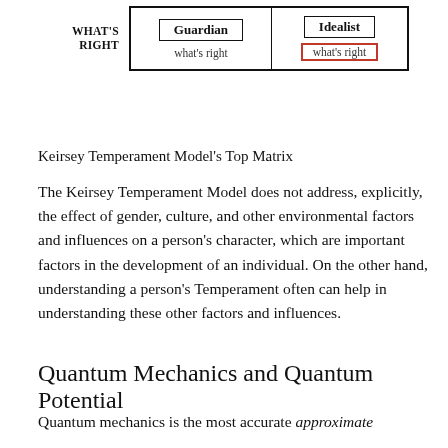[Figure (table-as-image): Partial Keirsey Temperament matrix showing 'What's Right' row with Guardian and Idealist columns. Guardian cell shows 'what's right', Idealist cell shows 'what's right' in a red-bordered box.]
Keirsey Temperament Model's Top Matrix
The Keirsey Temperament Model does not address, explicitly, the effect of gender, culture, and other environmental factors and influences on a person's character, which are important factors in the development of an individual. On the other hand, understanding a person's Temperament often can help in understanding these other factors and influences.
Quantum Mechanics and Quantum Potential
Quantum mechanics is the most accurate approximate theory in science. Unknown text continues...